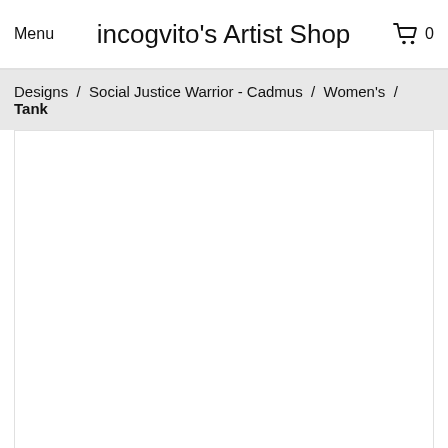Menu   incogvito's Artist Shop   0
Designs / Social Justice Warrior - Cadmus / Women's / Tank
[Figure (photo): White product image area for a women's tank top (blank/empty white rectangle)]